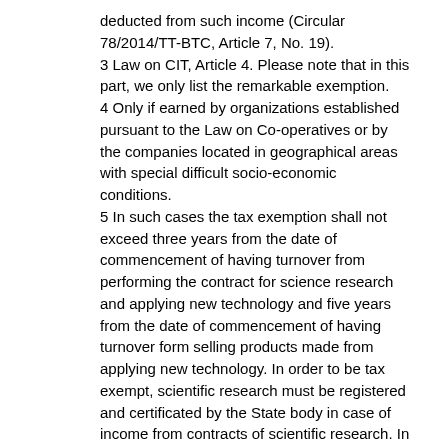deducted from such income (Circular 78/2014/TT-BTC, Article 7, No. 19).
3 Law on CIT, Article 4. Please note that in this part, we only list the remarkable exemption.
4 Only if earned by organizations established pursuant to the Law on Co-operatives or by the companies located in geographical areas with special difficult socio-economic conditions.
5 In such cases the tax exemption shall not exceed three years from the date of commencement of having turnover from performing the contract for science research and applying new technology and five years from the date of commencement of having turnover form selling products made from applying new technology. In order to be tax exempt, scientific research must be registered and certificated by the State body in case of income from contracts of scientific research. In case of income generated by the sale of new products, these products must be certificated by the State administrative body to be applied in Vietnam for the first time (Circular 78/2014/TT-BTC, Article 8, No. 3 amended by Circular 151/2014/TT-BTC).